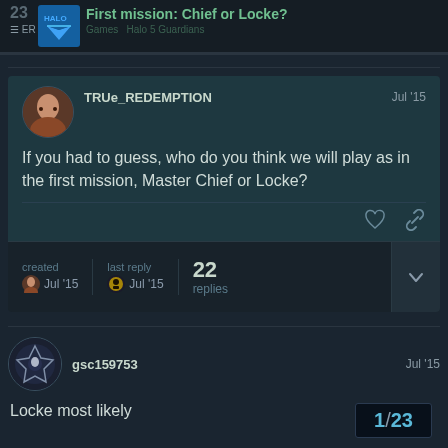23  First mission: Chief or Locke?  Games  Halo 5 Guardians
TRUe_REDEMPTION  Jul '15
If you had to guess, who do you think we will play as in the first mission, Master Chief or Locke?
created  last reply  22 replies
Jul '15  Jul '15
gsc159753  Jul '15
Locke most likely
1 / 23